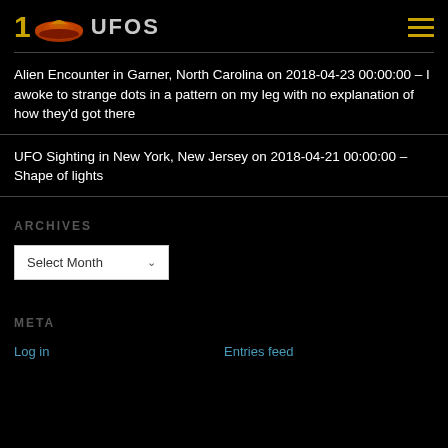1 UFOS
Alien Encounter in Garner, North Carolina on 2018-04-23 00:00:00 – I awoke to strange dots in a pattern on my leg with no explanation of how they'd got there
UFO Sighting in New York, New Jersey on 2018-04-21 00:00:00 – Shape of lights
ARCHIVES
Select Month
META
Log in   Entries feed